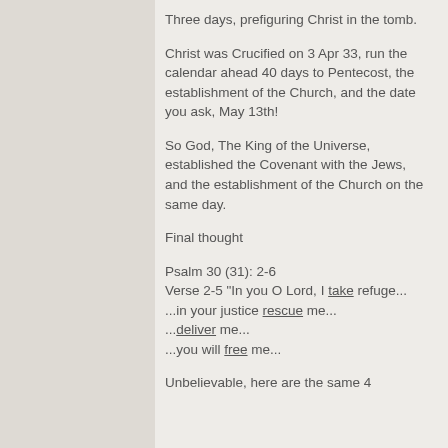Three days, prefiguring Christ in the tomb.
Christ was Crucified on 3 Apr 33, run the calendar ahead 40 days to Pentecost, the establishment of the Church, and the date you ask, May 13th!
So God, The King of the Universe, established the Covenant with the Jews, and the establishment of the Church on the same day.
Final thought
Psalm 30 (31): 2-6
Verse 2-5 "In you O Lord, I take refuge...
...in your justice rescue me...
...deliver me...
...you will free me...
Unbelievable, here are the same 4